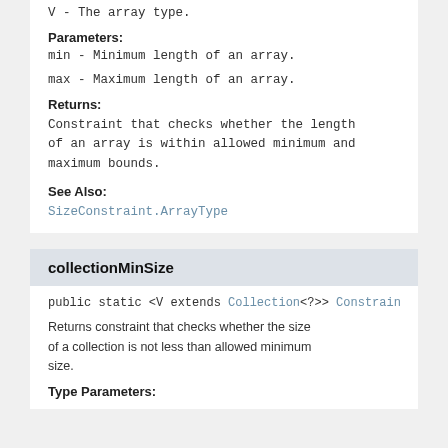V - The array type.
Parameters:
min - Minimum length of an array.
max - Maximum length of an array.
Returns:
Constraint that checks whether the length of an array is within allowed minimum and maximum bounds.
See Also:
SizeConstraint.ArrayType
collectionMinSize
public static <V extends Collection<?>> Constrain
Returns constraint that checks whether the size of a collection is not less than allowed minimum size.
Type Parameters: